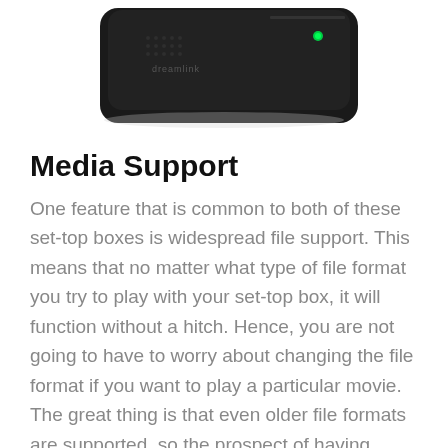[Figure (photo): Dreamlink set-top box device, black rectangular unit with a small green LED indicator light on top, viewed from a slight angle from above]
Media Support
One feature that is common to both of these set-top boxes is widespread file support. This means that no matter what type of file format you try to play with your set-top box, it will function without a hitch. Hence, you are not going to have to worry about changing the file format if you want to play a particular movie. The great thing is that even older file formats are supported, so the prospect of having